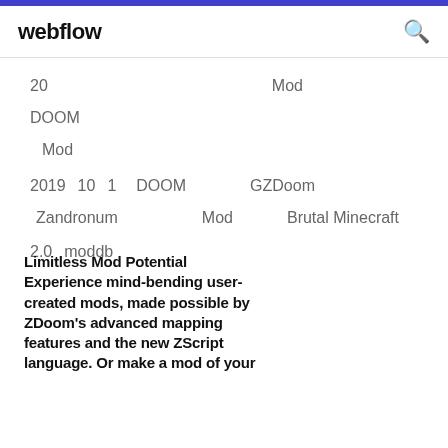webflow
20  Mod
DOOM
Mod
2019 10 1  DOOM  GZDoom  Zandronum  Mod  Brutal Minecraft
2.0  moddb
Limitless Mod Potential Experience mind-bending user-created mods, made possible by ZDoom's advanced mapping features and the new ZScript language. Or make a mod of your